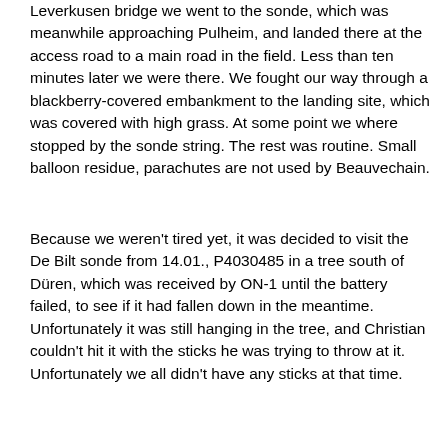Leverkusen bridge we went to the sonde, which was meanwhile approaching Pulheim, and landed there at the access road to a main road in the field. Less than ten minutes later we were there. We fought our way through a blackberry-covered embankment to the landing site, which was covered with high grass. At some point we where stopped by the sonde string. The rest was routine. Small balloon residue, parachutes are not used by Beauvechain.
Because we weren't tired yet, it was decided to visit the De Bilt sonde from 14.01., P4030485 in a tree south of Düren, which was received by ON-1 until the battery failed, to see if it had fallen down in the meantime. Unfortunately it was still hanging in the tree, and Christian couldn't hit it with the sticks he was trying to throw at it. Unfortunately we all didn't have any sticks at that time.